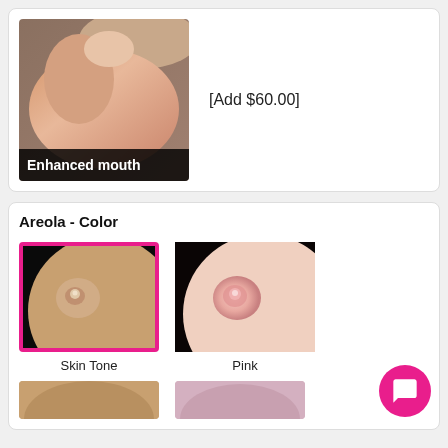[Figure (photo): Close-up photo of enhanced mouth feature with label 'Enhanced mouth' at bottom]
[Add $60.00]
Areola - Color
[Figure (photo): Skin tone areola option, selected with pink border]
Skin Tone
[Figure (photo): Pink areola option]
Pink